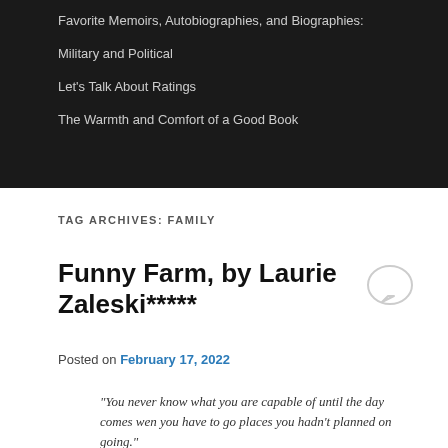Favorite Memoirs, Autobiographies, and Biographies:
Military and Political
Let's Talk About Ratings
The Warmth and Comfort of a Good Book
TAG ARCHIVES: FAMILY
Funny Farm, by Laurie Zaleski*****
Posted on February 17, 2022
“You never know what you are capable of until the day comes wen you have to go places you hadn’t planned on going.”